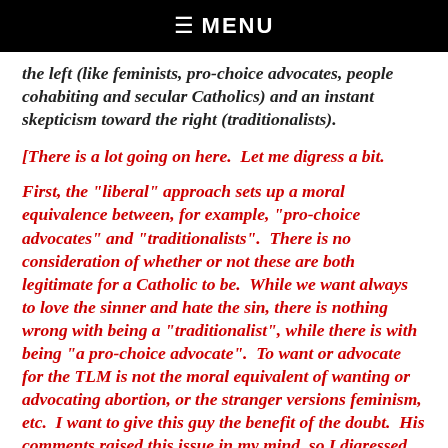☰  MENU
the left (like feminists, pro-choice advocates, people cohabiting and secular Catholics) and an instant skepticism toward the right (traditionalists).
[There is a lot going on here.  Let me digress a bit.
First, the "liberal" approach sets up a moral equivalence between, for example, "pro-choice advocates" and "traditionalists".  There is no consideration of whether or not these are both legitimate for a Catholic to be.  While we want always to love the sinner and hate the sin, there is nothing wrong with being a "traditionalist", while there is with being "a pro-choice advocate".  To want or advocate for the TLM is not the moral equivalent of wanting or advocating abortion, or the stranger versions feminism, etc.  I want to give this guy the benefit of the doubt.  His comments raised this issue in my mind, so I digressed.